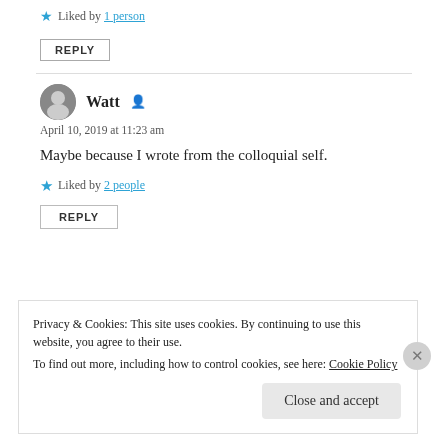Liked by 1 person
REPLY
Watt
April 10, 2019 at 11:23 am
Maybe because I wrote from the colloquial self.
Liked by 2 people
REPLY
Privacy & Cookies: This site uses cookies. By continuing to use this website, you agree to their use. To find out more, including how to control cookies, see here: Cookie Policy
Close and accept